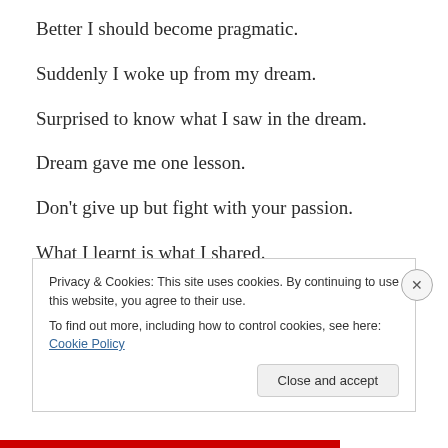Better I should become pragmatic.
Suddenly I woke up from my dream.
Surprised to know what I saw in the dream.
Dream gave me one lesson.
Don’t give up but fight with your passion.
What I learnt is what I shared.
Dream taught me which I should care.
Privacy & Cookies: This site uses cookies. By continuing to use this website, you agree to their use.
To find out more, including how to control cookies, see here: Cookie Policy